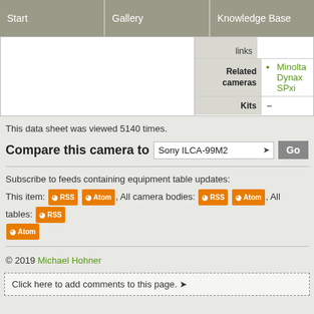Start | Gallery | Knowledge Base
| links | – |
| Related cameras | • Minolta Dynax SPxi |
| Kits | – |
This data sheet was viewed 5140 times.
Compare this camera to  Sony ILCA-99M2  Go
Subscribe to feeds containing equipment table updates:
This item: RSS Atom, All camera bodies: RSS Atom, All tables: RSS Atom
© 2019 Michael Hohner
Click here to add comments to this page.